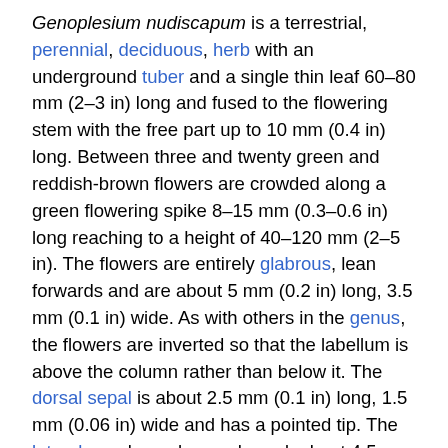Genoplesium nudiscapum is a terrestrial, perennial, deciduous, herb with an underground tuber and a single thin leaf 60–80 mm (2–3 in) long and fused to the flowering stem with the free part up to 10 mm (0.4 in) long. Between three and twenty green and reddish-brown flowers are crowded along a green flowering spike 8–15 mm (0.3–0.6 in) long reaching to a height of 40–120 mm (2–5 in). The flowers are entirely glabrous, lean forwards and are about 5 mm (0.2 in) long, 3.5 mm (0.1 in) wide. As with others in the genus, the flowers are inverted so that the labellum is above the column rather than below it. The dorsal sepal is about 2.5 mm (0.1 in) long, 1.5 mm (0.06 in) wide and has a pointed tip. The lateral sepals are lance-shaped, about 4.5 mm (0.18 in) long, 1 mm (0.04 in) wide, turn downwards and are free from each other. The petals are egg-shaped, 2.5 mm (0.1 in) long, about 1 mm (0.04 in) wide with a small white gland on the tip. The